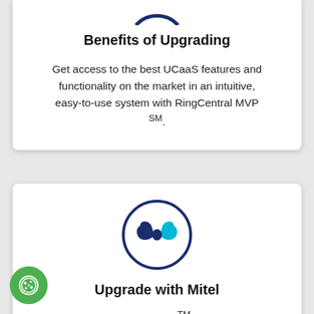[Figure (logo): Partial circular logo at top, navy blue arc visible at top of card]
Benefits of Upgrading
Get access to the best UCaaS features and functionality on the market in an intuitive, easy-to-use system with RingCentral MVP SM .
[Figure (logo): Mitel logo: navy blue circle outline containing a teal and dark blue bowtie/infinity knot shape]
Upgrade with Mitel
Mitel and RingCentral™ teams will